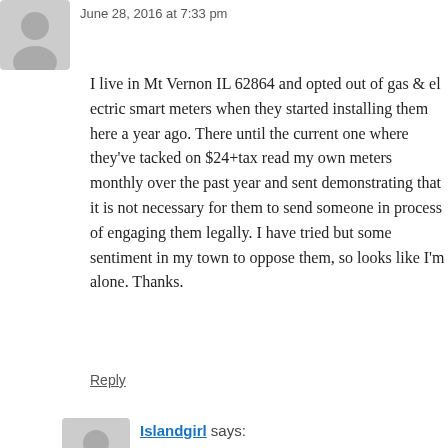June 28, 2016 at 7:33 pm
I live in Mt Vernon IL 62864 and opted out of gas & electric smart meters when they started installing them here a year ago. There until the current one where they've tacked on $24+tax read my own meters monthly over the past year and sent demonstrating that it is not necessary for them to send in process of engaging them legally. I have tried but so sentiment in my town to oppose them, so looks like I'm Thanks.
Reply
Islandgirl says:
July 2, 2018 at 4:57 pm
You can take a photo of ur meter , email it to themselves without paying to send staff to ur h
Reply